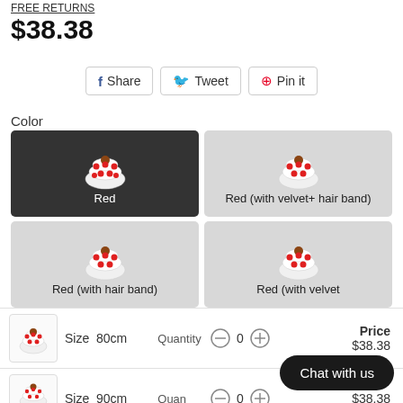FREE RETURNS
$38.38
Share  Tweet  Pin it
Color
Red | Red (with velvet+ hair band) | Red (with hair band) | Red (with velvet)
| Thumbnail | Size | Quantity |  |  | Price |
| --- | --- | --- | --- | --- | --- |
| [image] | Size  80cm |  | 0 |  | $38.38 |
| [image] | Size  90cm | Quan... | 0 |  | $38.38 |
Chat with us